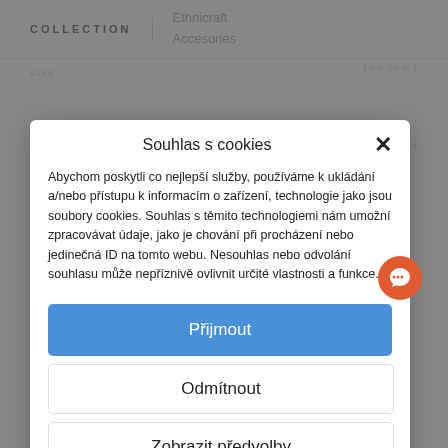COLLECTION | Ethnicraft | Accesories
Souhlas s cookies
Abychom poskytli co nejlepší služby, používáme k ukládání a/nebo přístupu k informacím o zařízení, technologie jako jsou soubory cookies. Souhlas s těmito technologiemi nám umožní zpracovávat údaje, jako je chování při procházení nebo jedinečná ID na tomto webu. Nesouhlas nebo odvolání souhlasu může nepříznivě ovlivnit určité vlastnosti a funkce.
Přijmout
Odmítnout
Zobrazit předvolby
DALŠÍ  Zásady cookies  GDPR  GDPR